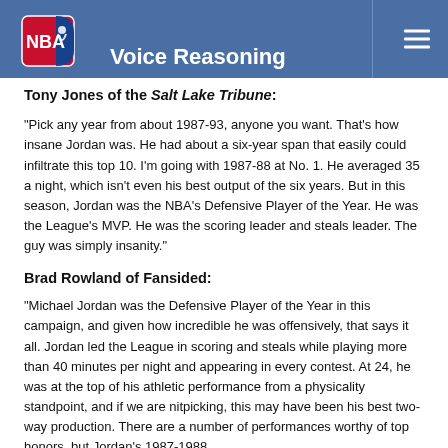Voice Reasoning
Tony Jones of the Salt Lake Tribune:
“Pick any year from about 1987-93, anyone you want. That’s how insane Jordan was. He had about a six-year span that easily could infiltrate this top 10. I’m going with 1987-88 at No. 1. He averaged 35 a night, which isn’t even his best output of the six years. But in this season, Jordan was the NBA’s Defensive Player of the Year. He was the League’s MVP. He was the scoring leader and steals leader. The guy was simply insanity.”
Brad Rowland of Fansided:
“Michael Jordan was the Defensive Player of the Year in this campaign, and given how incredible he was offensively, that says it all. Jordan led the League in scoring and steals while playing more than 40 minutes per night and appearing in every contest. At 24, he was at the top of his athletic performance from a physicality standpoint, and if we are nitpicking, this may have been his best two-way production. There are a number of performances worthy of top honors, but Jordan’s 1987-1988